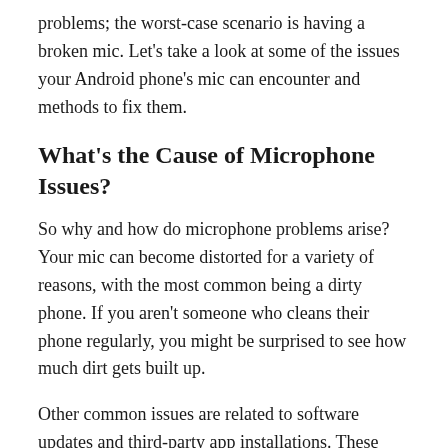problems; the worst-case scenario is having a broken mic. Let's take a look at some of the issues your Android phone's mic can encounter and methods to fix them.
What's the Cause of Microphone Issues?
So why and how do microphone problems arise? Your mic can become distorted for a variety of reasons, with the most common being a dirty phone. If you aren't someone who cleans their phone regularly, you might be surprised to see how much dirt gets built up.
Other common issues are related to software updates and third-party app installations. These